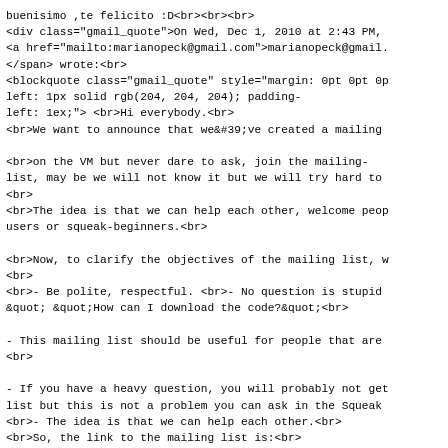buenisimo ,te felicito :D<br><br><br>
<div class="gmail_quote">On Wed, Dec 1, 2010 at 2:43 PM,
<a href="mailto:marianopeck@gmail.com">marianopeck@gmail.
</span> wrote:<br>
<blockquote class="gmail_quote" style="margin: 0pt 0pt 0p
left: 1px solid rgb(204, 204, 204); padding-
left: 1ex;"> <br>Hi everybody.<br>
<br>We want to announce that we&#39;ve created a mailing

<br>on the VM but never dare to ask, join the mailing-
list, may be we will not know it but we will try hard to
<br>
<br>The idea is that we can help each other, welcome peop
users or squeak-beginners.<br>

<br>Now, to clarify the objectives of the mailing list, w
<br>
<br>- Be polite, respectful. <br>- No question is stupid
&quot;  &quot;How can I download the code?&quot;<br>

- This mailing list should be useful for people that are
<br>

- If you have a heavy question, you will probably not get
list but this is not a problem you can ask in the Squeak
<br>- The idea is that we can help each other.<br>
<br>So, the link to the mailing list is:<br>

<br>
<a href="http://lists.squeakfoundation.org/mailman/listi